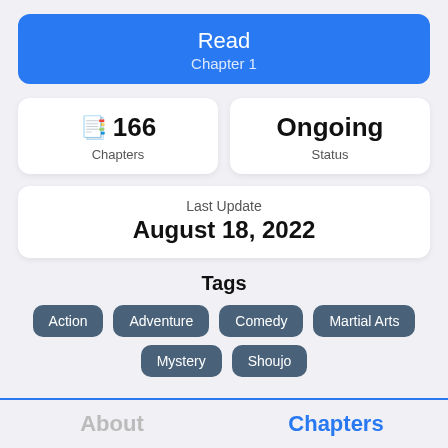Read
Chapter 1
📖 166
Chapters
Ongoing
Status
Last Update
August 18, 2022
Tags
Action
Adventure
Comedy
Martial Arts
Mystery
Shoujo
About    Chapters